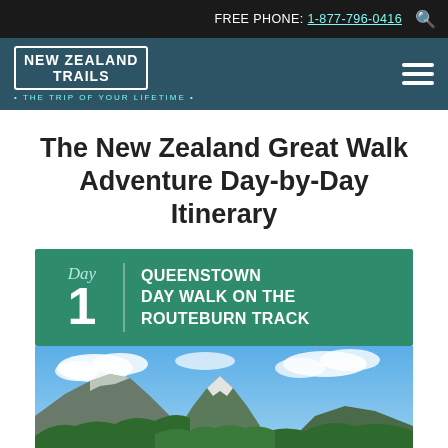FREE PHONE: 1-877-796-0416
[Figure (logo): New Zealand Trails logo with tagline 'The Trip of Your Lifetime']
The New Zealand Great Walk Adventure Day-by-Day Itinerary
Day 1 QUEENSTOWN DAY WALK ON THE ROUTEBURN TRACK
[Figure (photo): Mountain landscape with green forested hills, snow-capped peaks, and blue sky with clouds — Routeburn Track, New Zealand]